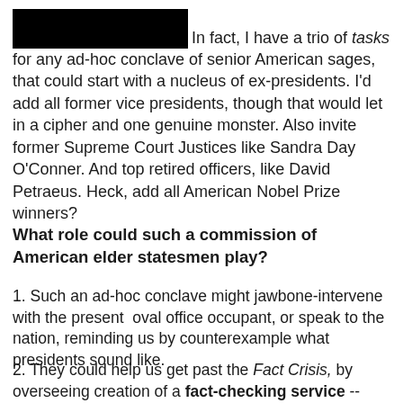[Figure (other): Redacted black rectangle at top left of page]
In fact, I have a trio of tasks for any ad-hoc conclave of senior American sages, that could start with a nucleus of ex-presidents. I'd add all former vice presidents, though that would let in a cipher and one genuine monster. Also invite former Supreme Court Justices like Sandra Day O'Conner. And top retired officers, like David Petraeus. Heck, add all American Nobel Prize winners?
What role could such a commission of American elder statesmen play?
1. Such an ad-hoc conclave might jawbone-intervene with the present  oval office occupant, or speak to the nation, reminding us by counterexample what presidents sound like.
2. They could help us get past the Fact Crisis, by overseeing creation of a fact-checking service -- one immune to the